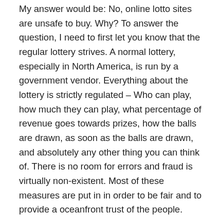My answer would be: No, online lotto sites are unsafe to buy. Why? To answer the question, I need to first let you know that the regular lottery strives. A normal lottery, especially in North America, is run by a government vendor. Everything about the lottery is strictly regulated – Who can play, how much they can play, what percentage of revenue goes towards prizes, how the balls are drawn, as soon as the balls are drawn, and absolutely any other thing you can think of. There is no room for errors and fraud is virtually non-existent. Most of these measures are put in in order to be fair and to provide a oceanfront trust of the people.
These outdated approaches to winning the online lottery website aren't recommended within. They let you fall in a mentality. Instead of increasing your likelihood of winning it big, picking numbers produced from sentimental value is a bad idea at all.
Say you win the green card lottery – you now go any complete police investigation – a background check, done by the improve. What this boils down to is you must have fresh record before...